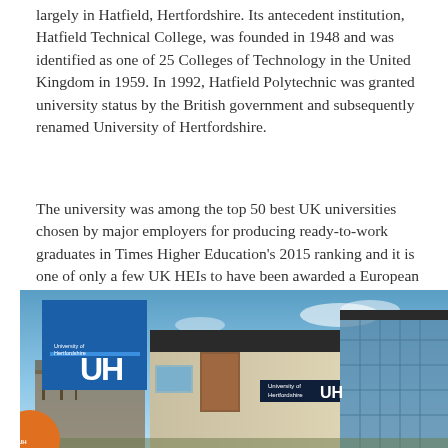largely in Hatfield, Hertfordshire. Its antecedent institution, Hatfield Technical College, was founded in 1948 and was identified as one of 25 Colleges of Technology in the United Kingdom in 1959. In 1992, Hatfield Polytechnic was granted university status by the British government and subsequently renamed University of Hertfordshire.
The university was among the top 50 best UK universities chosen by major employers for producing ready-to-work graduates in Times Higher Education's 2015 ranking and it is one of only a few UK HEIs to have been awarded a European Commission HR Excellence in Research badge.
[Figure (photo): Photo of a University of Hertfordshire building with blue glass facade and 'UH' signage, blue sky background. In the foreground top-left, the University of Hertfordshire logo (blue square with 'UH' text) is overlaid. An orange circle is visible at the bottom left corner.]